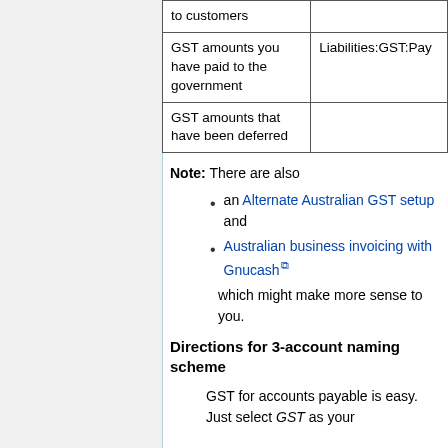| Description | Account |
| --- | --- |
| to customers |  |
| GST amounts you have paid to the government | Liabilities:GST:Pay |
| GST amounts that have been deferred |  |
Note: There are also
an Alternate Australian GST setup and
Australian business invoicing with Gnucash
which might make more sense to you.
Directions for 3-account naming scheme
GST for accounts payable is easy. Just select GST as your